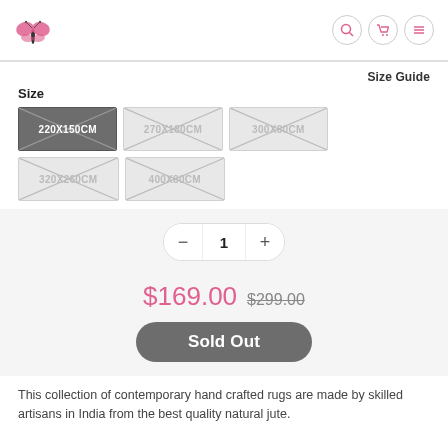Logo and navigation icons (search, cart, menu)
Size Guide
Size
[Figure (other): Five size option buttons with X marks: 220X150CM (selected/dark), 270X180CM, 300X80CM, 320X260CM, 400X80CM]
[Figure (other): Quantity selector showing minus button, 1, plus button]
$169.00  $299.00
Sold Out
This collection of contemporary hand crafted rugs are made by skilled artisans in India from the best quality natural jute.